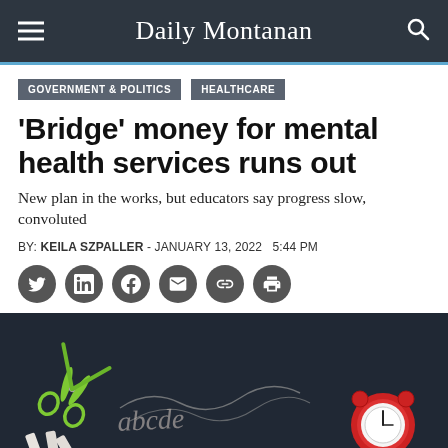Daily Montanan
GOVERNMENT & POLITICS
HEALTHCARE
'Bridge' money for mental health services runs out
New plan in the works, but educators say progress slow, convoluted
BY: KEILA SZPALLER - JANUARY 13, 2022  5:44 PM
[Figure (photo): Classroom chalkboard scene with green scissors, chalk pieces, and a red alarm clock on a dark slate background with chalk lettering]